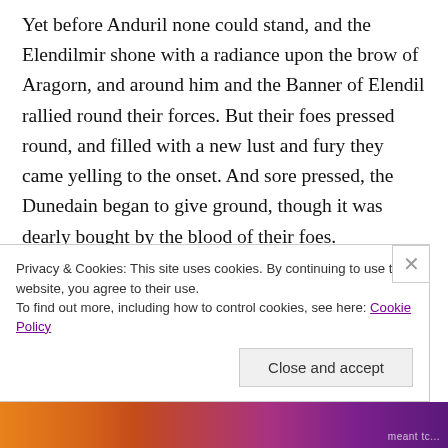Yet before Anduril none could stand, and the Elendilmir shone with a radiance upon the brow of Aragorn, and around him and the Banner of Elendil rallied round their forces. But their foes pressed round, and filled with a new lust and fury they came yelling to the onset. And sore pressed, the Dunedain began to give ground, though it was dearly bought by the blood of their foes.
From the east a fire spread along the horizon, and seemingly with a flash the bright and pale sun crested the horizon. Darkness still covered much of the land.
Privacy & Cookies: This site uses cookies. By continuing to use this website, you agree to their use.
To find out more, including how to control cookies, see here: Cookie Policy
Close and accept